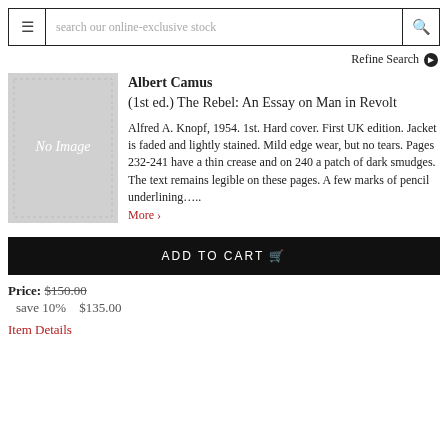search our online-exclusive stock
Refine Search
[Figure (illustration): Book cover placeholder with 'No Image' text on gray background]
Albert Camus
(1st ed.) The Rebel: An Essay on Man in Revolt
Alfred A. Knopf, 1954. 1st. Hard cover. First UK edition. Jacket is faded and lightly stained. Mild edge wear, but no tears. Pages 232-241 have a thin crease and on 240 a patch of dark smudges. The text remains legible on these pages. A few marks of pencil underlining..... More >
ADD TO CART
Price: $150.00
save 10%    $135.00
Item Details